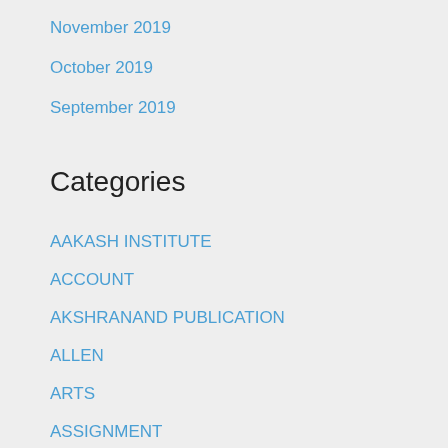November 2019
October 2019
September 2019
Categories
AAKASH INSTITUTE
ACCOUNT
AKSHRANAND PUBLICATION
ALLEN
ARTS
ASSIGNMENT
BIOLOGY
Career
CAREER ENDEAVOUR